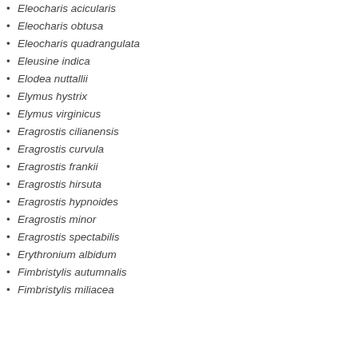Eleocharis acicularis
Eleocharis obtusa
Eleocharis quadrangulata
Eleusine indica
Elodea nuttallii
Elymus hystrix
Elymus virginicus
Eragrostis cilianensis
Eragrostis curvula
Eragrostis frankii
Eragrostis hirsuta
Eragrostis hypnoides
Eragrostis minor
Eragrostis spectabilis
Erythronium albidum
Fimbristylis autumnalis
Fimbristylis miliacea